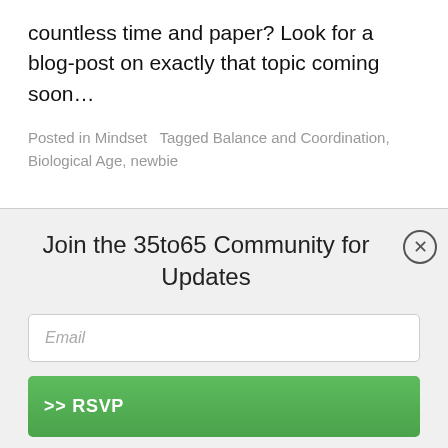countless time and paper? Look for a blog-post on exactly that topic coming soon…
Posted in Mindset   Tagged Balance and Coordination, Biological Age, newbie
Join the 35to65 Community for Updates
Email
>> RSVP